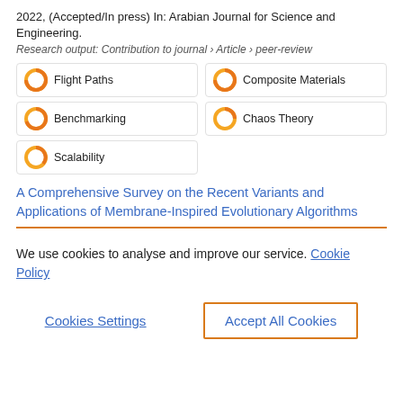2022, (Accepted/In press) In: Arabian Journal for Science and Engineering.
Research output: Contribution to journal › Article › peer-review
Flight Paths
Composite Materials
Benchmarking
Chaos Theory
Scalability
A Comprehensive Survey on the Recent Variants and Applications of Membrane-Inspired Evolutionary Algorithms
We use cookies to analyse and improve our service. Cookie Policy
Cookies Settings
Accept All Cookies